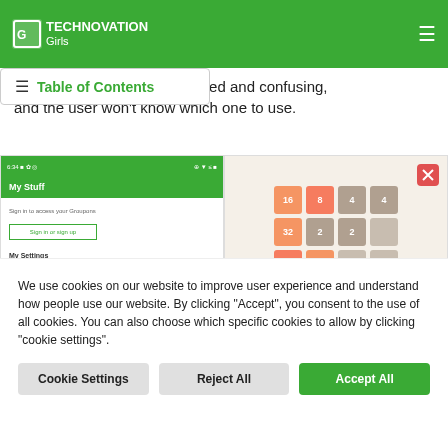TECHNOVATION Girls
many buttons can look cluttered and confusing, and the user won't know which one to use.
[Figure (screenshot): Mobile app screenshot showing 'My Stuff' screen with sign in prompt and settings options]
[Figure (screenshot): 2048 puzzle game screenshot showing Classic(4x4) grid with numbered tiles]
We use cookies on our website to improve user experience and understand how people use our website. By clicking "Accept", you consent to the use of all cookies. You can also choose which specific cookies to allow by clicking "cookie settings".